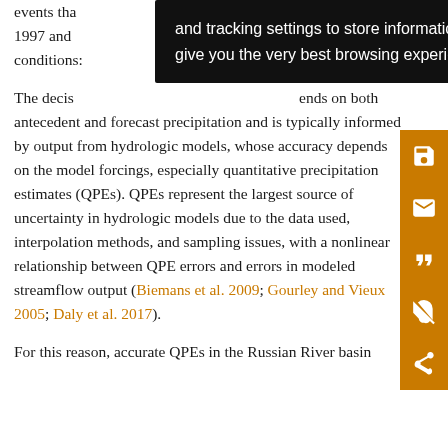events that … between 1997 and … conditions…
The decision … depends on both antecedent and forecast precipitation and is typically informed by output from hydrologic models, whose accuracy depends on the model forcings, especially quantitative precipitation estimates (QPEs). QPEs represent the largest source of uncertainty in hydrologic models due to the data used, interpolation methods, and sampling issues, with a nonlinear relationship between QPE errors and errors in modeled streamflow output (Biemans et al. 2009; Gourley and Vieux 2005; Daly et al. 2017).
For this reason, accurate QPEs in the Russian River basin